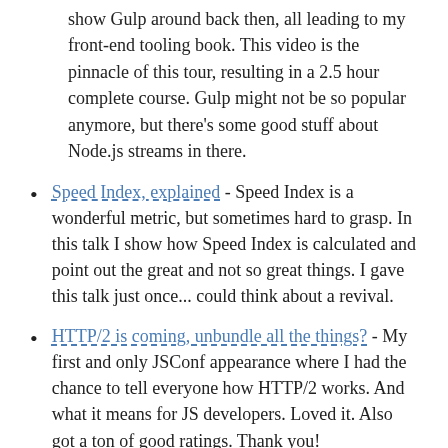show Gulp around back then, all leading to my front-end tooling book. This video is the pinnacle of this tour, resulting in a 2.5 hour complete course. Gulp might not be so popular anymore, but there's some good stuff about Node.js streams in there.
Speed Index, explained - Speed Index is a wonderful metric, but sometimes hard to grasp. In this talk I show how Speed Index is calculated and point out the great and not so great things. I gave this talk just once... could think about a revival.
HTTP/2 is coming, unbundle all the things? - My first and only JSConf appearance where I had the chance to tell everyone how HTTP/2 works. And what it means for JS developers. Loved it. Also got a ton of good ratings. Thank you!